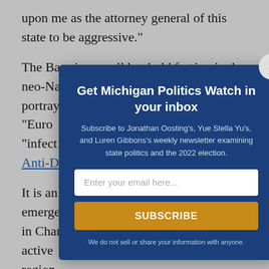upon me as the attorney general of this state to be aggressive."
The Base is a small but bold faction in the neo-Nazi movement whose members portray themselves as "Euro... "infect... Anti-D...
It is an... emerg... in Cha... active... region...
"It's no... said. "...
[Figure (other): Email newsletter subscription modal overlay for 'Michigan Politics Watch'. Dark blue background with white bold title 'Get Michigan Politics Watch in your inbox', subtitle describing Jonathan Oosting's, Yue Stella Yu's, and Luren Gibbons's weekly newsletter examining state politics and the 2022 election. Email input field, orange SUBSCRIBE button, and disclaimer 'We do not sell or share your information with anyone.' Close button (×) in top-right corner.]